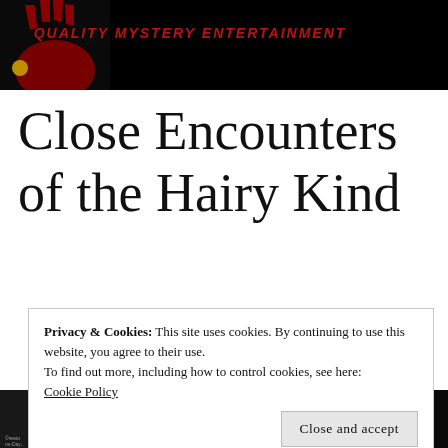QUALITY MYSTERY ENTERTAINMENT
Close Encounters of the Hairy Kind
Privacy & Cookies: This site uses cookies. By continuing to use this website, you agree to their use.
To find out more, including how to control cookies, see here:
Cookie Policy
Close and accept